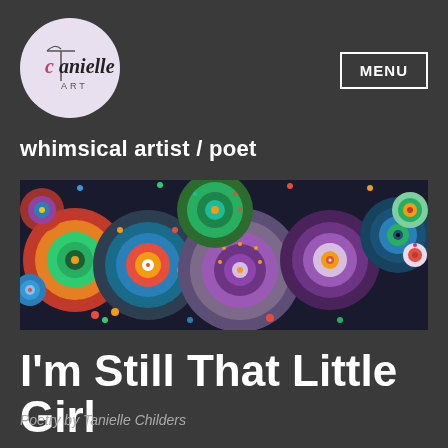[Figure (logo): Tanielle Art logo — circular white/lavender circle with stylized text 'Tanielle ART']
MENU
whimsical artist / poet
[Figure (photo): Wide banner photo of colorful mandala/circular dot art painting — rows of concentric circles in vivid purples, greens, oranges, blues and reds on dark background]
I'm Still That Little Girl
Poetry by Tanielle Childers